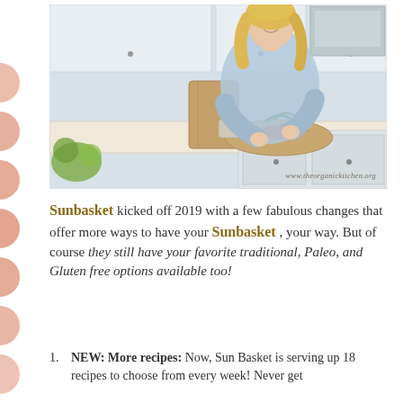[Figure (photo): A smiling blonde woman in a light blue denim shirt chopping vegetables on a wooden cutting board in a bright, white kitchen. A brown paper grocery bag, carrots, herbs, and other produce are on the white marble countertop. White cabinets visible. Website watermark reads www.theorganickitchen.org]
Sunbasket kicked off 2019 with a few fabulous changes that offer more ways to have your Sunbasket , your way. But of course they still have your favorite traditional, Paleo, and Gluten free options available too!
NEW: More recipes: Now, Sun Basket is serving up 18 recipes to choose from every week! Never get